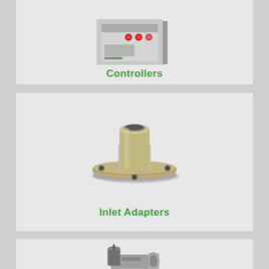[Figure (photo): Photo of an electronic controller box with red buttons and indicator lights, gray enclosure]
Controllers
[Figure (photo): Photo of a metallic inlet adapter component with circular flange and mounting holes, silver/gold finish]
Inlet Adapters
[Figure (photo): Partial photo of a gate valve or similar industrial valve component with actuator, metallic silver finish]